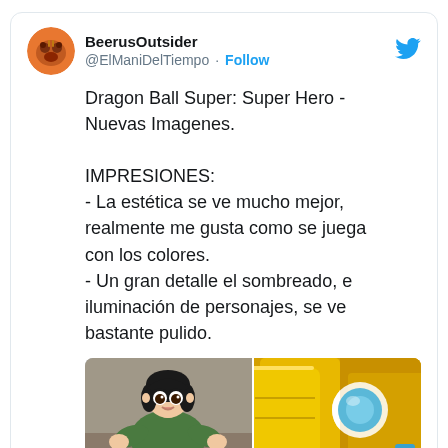BeerusOutsider @ElManiDelTiempo · Follow
Dragon Ball Super: Super Hero - Nuevas Imagenes.

IMPRESIONES:
- La estética se ve mucho mejor, realmente me gusta como se juega con los colores.
- Un gran detalle el sombreado, e iluminación de personajes, se ve bastante pulido.
[Figure (photo): Two anime images side by side: left shows a young female character in green leaning forward, right shows a golden armored character with a blue circular element.]